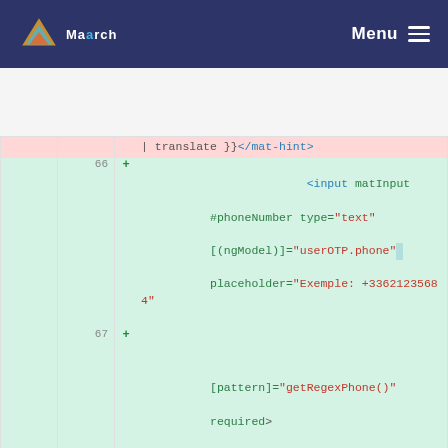Maarch — Menu
[Figure (screenshot): Code diff view showing HTML template changes with line numbers 66-71, including added lines for input matInput phoneNumber type text, ngModel userOTP.phone, placeholder, pattern getRegexPhone, required, mat-hint align start, mat-form-field, mat-label lang.email translate]
...